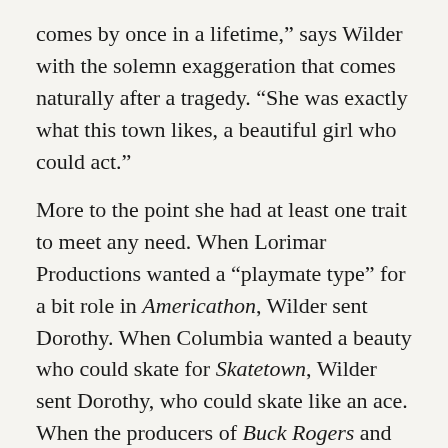comes by once in a lifetime,” says Wilder with the solemn exaggeration that comes naturally after a tragedy. “She was exactly what this town likes, a beautiful girl who could act.”

More to the point she had at least one trait to meet any need. When Lorimar Productions wanted a “playmate type” for a bit role in Americathon, Wilder sent Dorothy. When Columbia wanted a beauty who could skate for Skatetown, Wilder sent Dorothy, who could skate like an ace. When the producers of Buck Rogers and later Galaxina asked